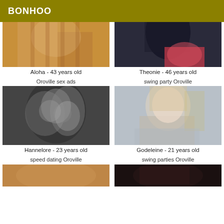BONHOO
Aloha - 43 years old
[Figure (photo): Partial photo of a woman, warm tones, cropped at top]
Theonie - 46 years old
[Figure (photo): Partial photo of a dark-haired woman in pink top, cropped at top]
Oroville sex ads
swing party Oroville
[Figure (photo): Black and white photo of two women smiling closely together]
Hannelore - 23 years old
[Figure (photo): Photo of a blonde woman taking a selfie, grey sweater]
Godeleine - 21 years old
speed dating Oroville
swing parties Oroville
[Figure (photo): Partial photo, warm golden tones, cropped at bottom]
[Figure (photo): Partial photo, dark tones, cropped at bottom]